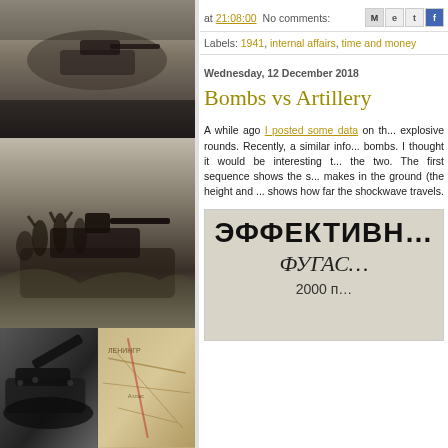[Figure (photo): Collage of WWII-era black and white photographs: tank at top, soldiers in field middle, tank with cannon at bottom-left, and a map at bottom-right]
at 21:08:00   No comments:
Labels: 1941, internal affairs, time and money
Wednesday, 12 December 2018
Bombs vs Artillery
A while ago I posted some data on th... explosive rounds. Recently, a similar info... bombs. I thought it would be interesting t... the two. The first sequence shows the s... makes in the ground (the height and ... shows how far the shockwave travels.
[Figure (photo): Soviet military document header showing Cyrillic text: ЭФФЕКТИВН... ФУГАС... 2000 п...]